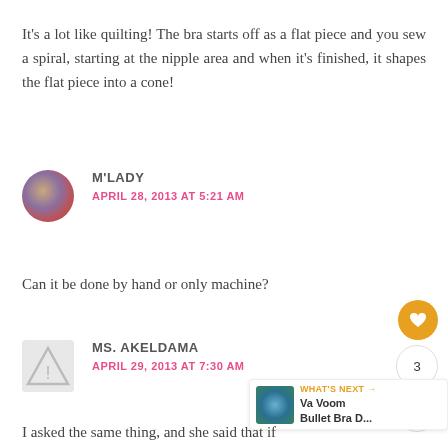It's a lot like quilting! The bra starts off as a flat piece and you sew a spiral, starting at the nipple area and when it's finished, it shapes the flat piece into a cone!
M'LADY
APRIL 28, 2013 AT 5:21 AM
Can it be done by hand or only machine?
MS. AKELDAMA
APRIL 29, 2013 AT 7:30 AM
I asked the same thing, and she said that if